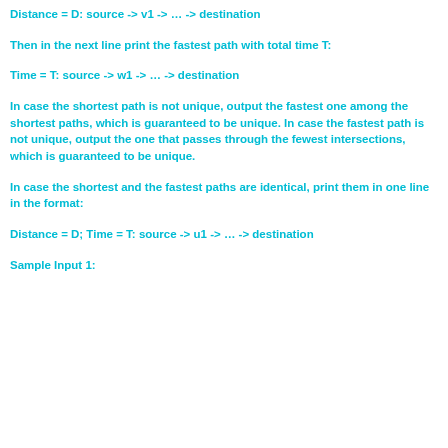Distance = D: source -> v1 -> … -> destination
Then in the next line print the fastest path with total time T:
Time = T: source -> w1 -> … -> destination
In case the shortest path is not unique, output the fastest one among the shortest paths, which is guaranteed to be unique. In case the fastest path is not unique, output the one that passes through the fewest intersections, which is guaranteed to be unique.
In case the shortest and the fastest paths are identical, print them in one line in the format:
Distance = D; Time = T: source -> u1 -> … -> destination
Sample Input 1: